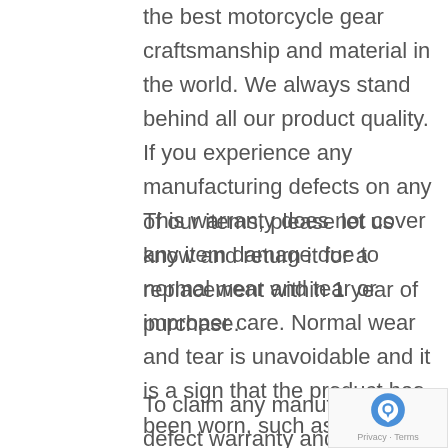the best motorcycle gear craftsmanship and material in the world. We always stand behind all our product quality. If you experience any manufacturing defects on any of our items, please let us know and return it for a replacement within 1 year of purchase.
This warranty does not cover any item damage due to normal wear and tear or improper care. Normal wear and tear is unavoidable and it is a sign that the product has been worn, such as small scratches or color change.
To claim any manufacturing defect warranty and to get your replacement as soon as